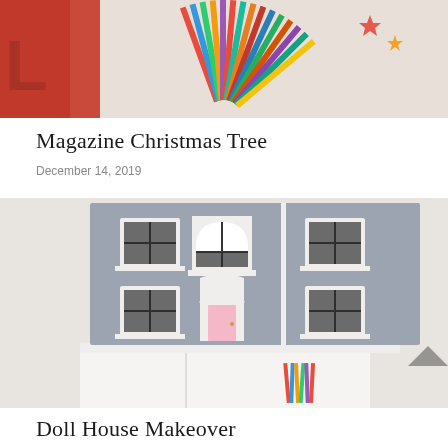[Figure (photo): Top portion of a photo showing colorful magazines fanned out like a tree, with a red LOVE sign on the left side]
Magazine Christmas Tree
December 14, 2019
[Figure (photo): A grey and white dollhouse cabinet with windows and a pink door, sitting on a white shelf unit with colorful pencils/crayons below. A chevron navigation arrow is visible in the bottom right corner.]
Doll House Makeover